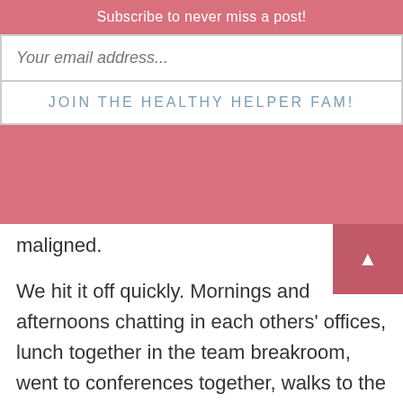Subscribe to never miss a post!
Your email address...
JOIN THE HEALTHY HELPER FAM!
maligned.
We hit it off quickly. Mornings and afternoons chatting in each others' offices, lunch together in the team breakroom, went to conferences together, walks to the company store together. We began emailing and texting quite frequently. Text conversations almost every day. Book and movie ideas,
political discussions, you name it, fun chats.